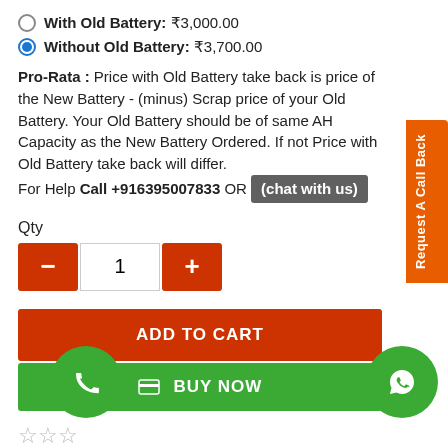With Old Battery: ₹3,000.00
Without Old Battery: ₹3,700.00
Pro-Rata : Price with Old Battery take back is price of the New Battery - (minus) Scrap price of your Old Battery. Your Old Battery should be of same AH Capacity as the New Battery Ordered. If not Price with Old Battery take back will differ.
For Help Call +916395007833 OR (chat with us)
Qty
[Figure (infographic): Quantity selector with minus button, input showing 1, and plus button, all styled in red/white]
[Figure (infographic): ADD TO CART red button]
[Figure (infographic): BUY NOW green button with card icon]
[Figure (infographic): Star rating showing 0 stars (3 empty stars)]
0 reviews / Write a review
[Figure (infographic): Green phone floating action button on the left]
[Figure (infographic): Green WhatsApp floating action button on the right]
Request A Call Back